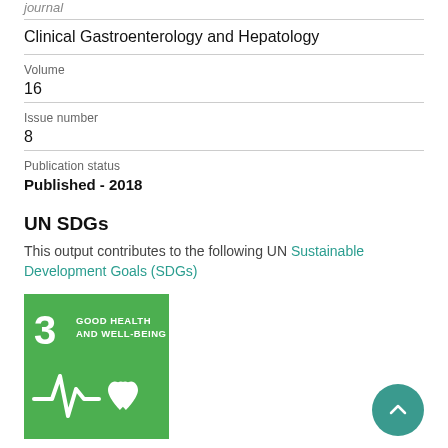journal
Clinical Gastroenterology and Hepatology
Volume
16
Issue number
8
Publication status
Published - 2018
UN SDGs
This output contributes to the following UN Sustainable Development Goals (SDGs)
[Figure (logo): UN SDG Goal 3 badge: Good Health and Well-Being, green square with number 3, title, and heartbeat/heart icon in white]